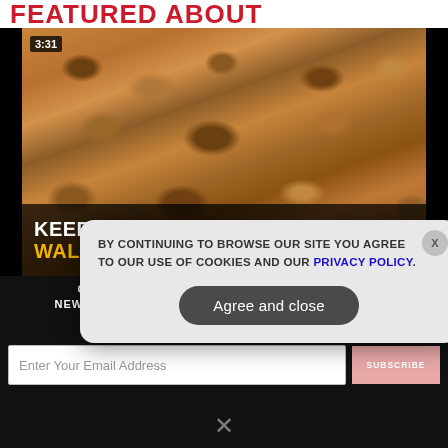FEATURED ABOUT
[Figure (photo): Video thumbnail showing walnuts close-up with text overlay 'KEEP YOUR GUT HEALTHY WITH WALNUTS' and timer badge '3:31']
GET THE WORLD'S BEST INDEPENDENT MEDIA NEWSLETTER DELIVERED STRAIGHT TO YOUR INBOX.
[Figure (screenshot): Cookie consent modal with text: 'BY CONTINUING TO BROWSE OUR SITE YOU AGREE TO OUR USE OF COOKIES AND OUR PRIVACY POLICY.' and 'Agree and close' button]